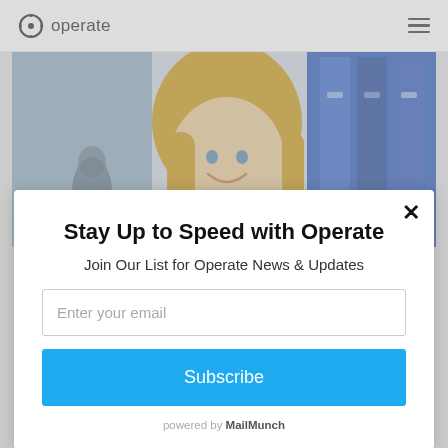operate (logo with navigation hamburger menu)
[Figure (photo): Photo of a smiling blonde woman in a hallway with blue lockers in the background]
Stay Up to Speed with Operate
Join Our List for Operate News & Updates
Enter your email
Subscribe
powered by MailMunch